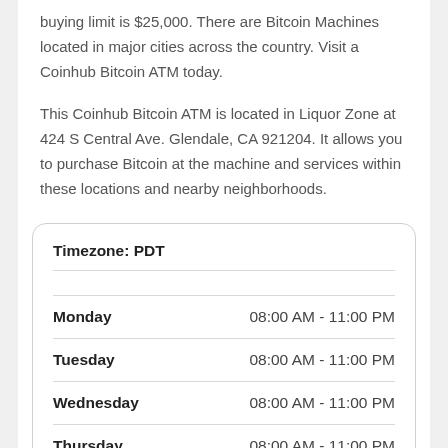buying limit is $25,000. There are Bitcoin Machines located in major cities across the country. Visit a Coinhub Bitcoin ATM today.
This Coinhub Bitcoin ATM is located in Liquor Zone at 424 S Central Ave. Glendale, CA 921204. It allows you to purchase Bitcoin at the machine and services within these locations and nearby neighborhoods.
| Timezone: PDT |  |
| --- | --- |
| Monday | 08:00 AM - 11:00 PM |
| Tuesday | 08:00 AM - 11:00 PM |
| Wednesday | 08:00 AM - 11:00 PM |
| Thursday | 08:00 AM - 11:00 PM |